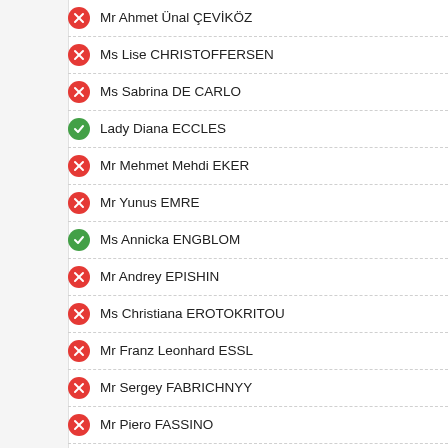Mr Ahmet Ünal ÇEVİKÖZ
Ms Lise CHRISTOFFERSEN
Ms Sabrina DE CARLO
Lady Diana ECCLES
Mr Mehmet Mehdi EKER
Mr Yunus EMRE
Ms Annicka ENGBLOM
Mr Andrey EPISHIN
Ms Christiana EROTOKRITOU
Mr Franz Leonhard ESSL
Mr Sergey FABRICHNYY
Mr Piero FASSINO
Ms Sevinj FATALIYEVA
Ms Tarja FILATOV
Ms Dubravka FILIPOVSKI
M. Olivier FRANÇAIS
Mme Béatrice FRESKO-ROLFO